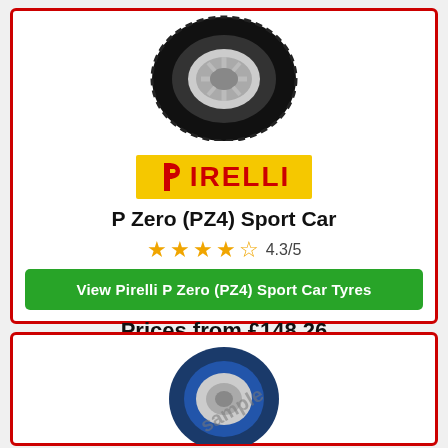[Figure (photo): Pirelli P Zero (PZ4) Sport Car tyre viewed from the side]
[Figure (logo): Pirelli brand logo — red text on yellow background with stylized P icon]
P Zero (PZ4) Sport Car
4.3/5 (star rating with 4 full stars and 1 half star)
View Pirelli P Zero (PZ4) Sport Car Tyres
Prices from £148.26
[Figure (photo): Second tyre product image (partially visible, marked sample)]